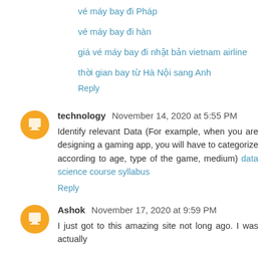vé máy bay đi Pháp
vé máy bay đi hàn
giá vé máy bay đi nhật bản vietnam airline
thời gian bay từ Hà Nội sang Anh
Reply
technology November 14, 2020 at 5:55 PM
Identify relevant Data (For example, when you are designing a gaming app, you will have to categorize according to age, type of the game, medium) data science course syllabus
Reply
Ashok November 17, 2020 at 9:59 PM
I just got to this amazing site not long ago. I was actually